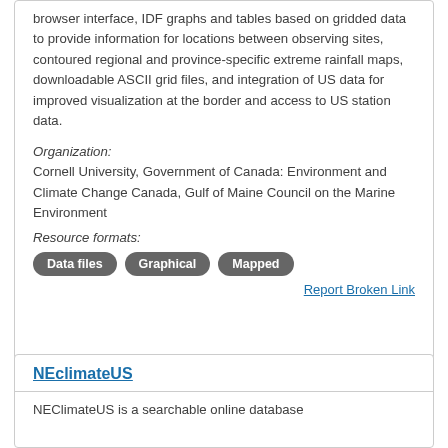browser interface, IDF graphs and tables based on gridded data to provide information for locations between observing sites, contoured regional and province-specific extreme rainfall maps, downloadable ASCII grid files, and integration of US data for improved visualization at the border and access to US station data.
Organization: Cornell University, Government of Canada: Environment and Climate Change Canada, Gulf of Maine Council on the Marine Environment
Resource formats: Data files  Graphical  Mapped
Report Broken Link
NEclimateUS
NEClimateUS is a searchable online database